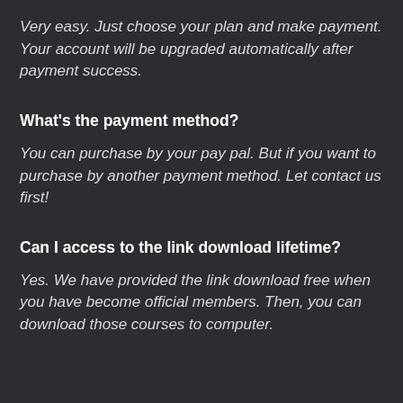Very easy. Just choose your plan and make payment. Your account will be upgraded automatically after payment success.
What's the payment method?
You can purchase by your pay pal. But if you want to purchase by another payment method. Let contact us first!
Can I access to the link download lifetime?
Yes. We have provided the link download free when you have become official members. Then, you can download those courses to computer.